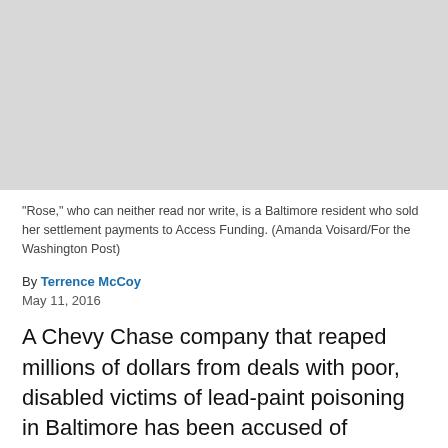[Figure (photo): Gray placeholder area representing a photo of 'Rose,' a Baltimore resident who sold her settlement payments to Access Funding.]
"Rose," who can neither read nor write, is a Baltimore resident who sold her settlement payments to Access Funding. (Amanda Voisard/For the Washington Post)
By Terrence McCoy
May 11, 2016
A Chevy Chase company that reaped millions of dollars from deals with poor, disabled victims of lead-paint poisoning in Baltimore has been accused of committing fraud and deceiving court officials, according to a lawsuit